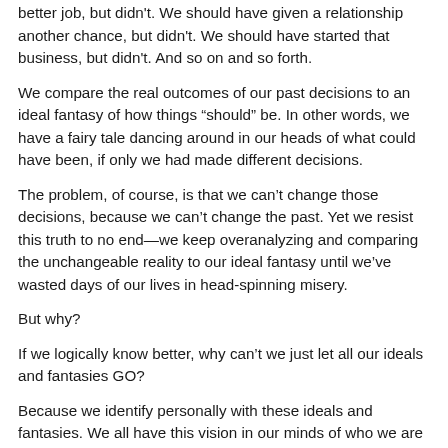better job, but didn't. We should have given a relationship another chance, but didn't. We should have started that business, but didn't. And so on and so forth.
We compare the real outcomes of our past decisions to an ideal fantasy of how things “should” be. In other words, we have a fairy tale dancing around in our heads of what could have been, if only we had made different decisions.
The problem, of course, is that we can’t change those decisions, because we can’t change the past. Yet we resist this truth to no end—we keep overanalyzing and comparing the unchangeable reality to our ideal fantasy until we’ve wasted days of our lives in head-spinning misery.
But why?
If we logically know better, why can’t we just let all our ideals and fantasies GO?
Because we identify personally with these ideals and fantasies. We all have this vision in our minds of who we are—our well-meaning intentions, our intelligence, our social impact, etc. And we make the best decisions we can, of course, because, again, we generally mean well. Even if you